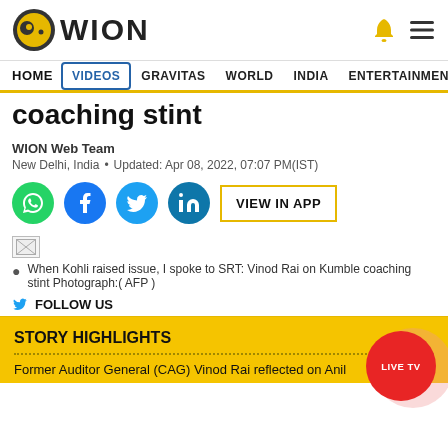WION
HOME VIDEOS GRAVITAS WORLD INDIA ENTERTAINMENT SPORTS
coaching stint
WION Web Team
New Delhi, India • Updated: Apr 08, 2022, 07:07 PM(IST)
[Figure (infographic): Social share buttons: WhatsApp, Facebook, Twitter, LinkedIn, and VIEW IN APP button]
[Figure (photo): Broken image placeholder]
When Kohli raised issue, I spoke to SRT: Vinod Rai on Kumble coaching stint Photograph:( AFP )
FOLLOW US
STORY HIGHLIGHTS
Former Auditor General (CAG) Vinod Rai reflected on Anil